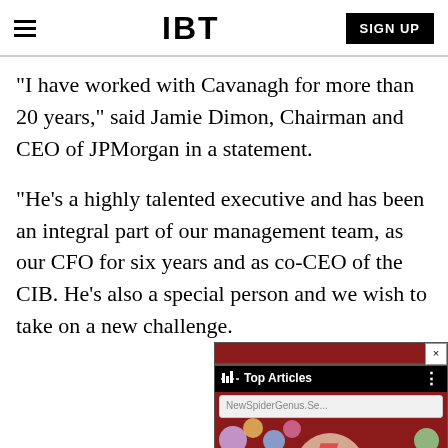IBT
"I have worked with Cavanagh for more than 20 years," said Jamie Dimon, Chairman and CEO of JPMorgan in a statement.
"He's a highly talented executive and has been an integral part of our management team, as our CFO for six years and as co-CEO of the CIB. He's also a special person and we wish to take on a new challenge.
[Figure (screenshot): An ad overlay showing a Top Articles widget with an image of David Bowie in Ziggy Stardust makeup. Contains a close button (x), a black bar reading 'Top Articles', a URL bar showing 'NewSpiderGenus.Se...', and an image area with colorful circles over a red background.]